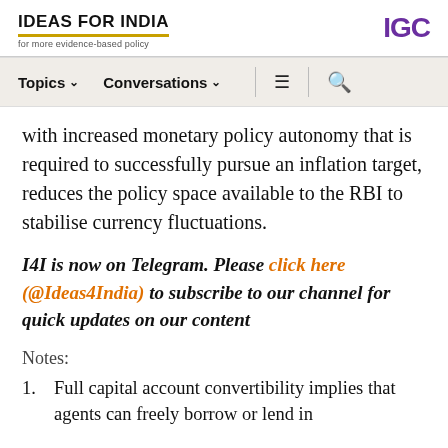IDEAS FOR INDIA — for more evidence-based policy | IGC
with increased monetary policy autonomy that is required to successfully pursue an inflation target, reduces the policy space available to the RBI to stabilise currency fluctuations.
I4I is now on Telegram. Please click here (@Ideas4India) to subscribe to our channel for quick updates on our content
Notes:
Full capital account convertibility implies that agents can freely borrow or lend in